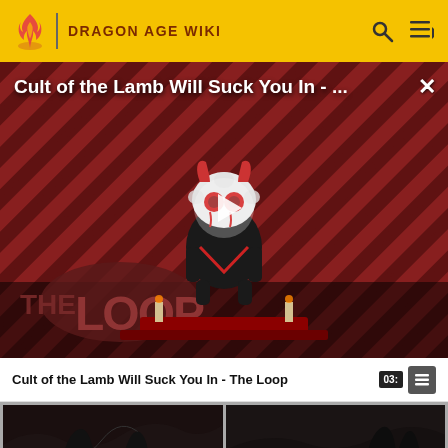DRAGON AGE WIKI
[Figure (screenshot): Video player showing 'Cult of the Lamb Will Suck You In - ...' with a cartoon lamb character on a red and black striped background, 'THE LOOP' text at bottom left, and a play button overlay]
Cult of the Lamb Will Suck You In - The Loop
[Figure (screenshot): Four video thumbnails in a 2x2 grid showing dark fantasy landscape scenes from Dragon Age: Inquisition]